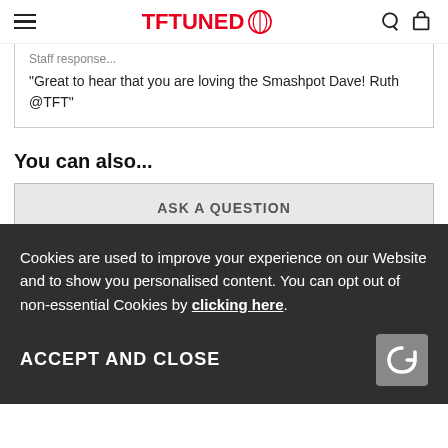TFTUNED
Staff response...
"Great to hear that you are loving the Smashpot Dave! Ruth @TFT"
You can also...
ASK A QUESTION
PRINT THIS PAGE
Cookies are used to improve your experience on our Website and to show you personalised content. You can opt out of non-essential Cookies by clicking here.
WRITE A REVIEW
ACCEPT AND CLOSE